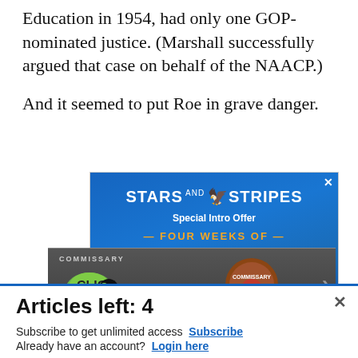Education in 1954, had only one GOP-nominated justice. (Marshall successfully argued that case on behalf of the NAACP.)
And it seemed to put Roe in grave danger.
[Figure (screenshot): Stars and Stripes advertisement banner with blue background, showing 'STARS AND STRIPES Special Intro Offer — FOUR WEEKS OF — [Unlimited] ONE [Dollar]']
[Figure (screenshot): Commissary Click2Go advertisement with dark background showing logo, commissary badge, 'order groceries' text and discount offer]
Articles left: 4
Subscribe to get unlimited access Subscribe
Already have an account? Login here